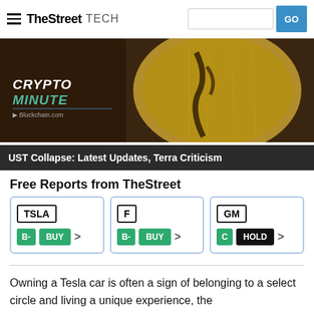TheStreet TECH
[Figure (screenshot): Crypto Minute hero image showing a gold coin with text 'CRYPTO MINUTE' and 'Blockchain.com' overlay, with dark background caption 'UST Collapse: Latest Updates, Terra Criticism']
UST Collapse: Latest Updates, Terra Criticism
Free Reports from TheStreet
| Ticker | Grade | Action |
| --- | --- | --- |
| TSLA | B- | BUY |
| F | B- | BUY |
| GM | C | HOLD |
Owning a Tesla car is often a sign of belonging to a select circle and living a unique experience, the